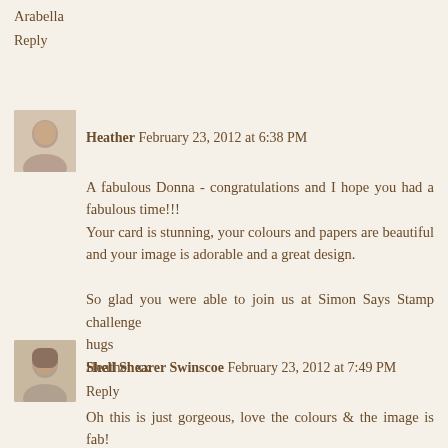Arabella
Reply
Heather  February 23, 2012 at 6:38 PM
A fabulous Donna - congratulations and I hope you had a fabulous time!!!
Your card is stunning, your colours and papers are beautiful and your image is adorable and a great design.

So glad you were able to join us at Simon Says Stamp challenge
hugs
Heather xx
Reply
Shell Shearer Swinscoe  February 23, 2012 at 7:49 PM
Oh this is just gorgeous, love the colours & the image is fab!
Talking of hair, our baby girl who is now 14 used to be able